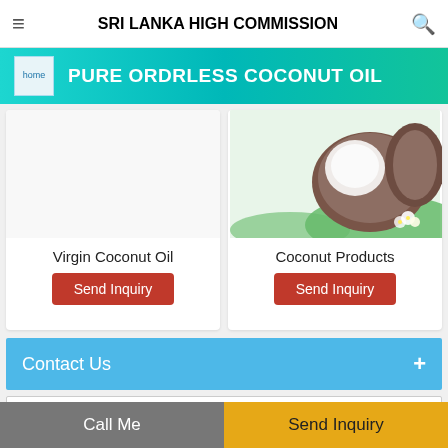SRI LANKA HIGH COMMISSION
PURE ORDRLESS COCONUT OIL
[Figure (photo): Left product card: Virgin Coconut Oil with white background]
Virgin Coconut Oil
[Figure (photo): Right product card: Coconut Products with photo of coconuts and white flowers]
Coconut Products
Contact Us
Call Me
Send Inquiry